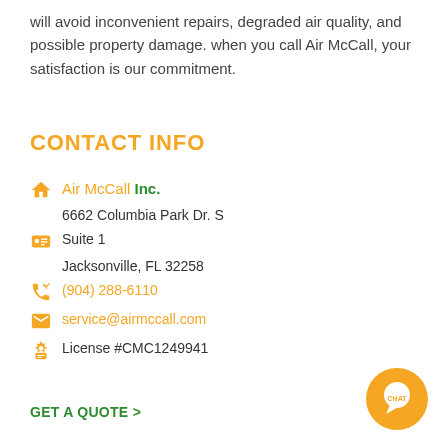will avoid inconvenient repairs, degraded air quality, and possible property damage. when you call Air McCall, your satisfaction is our commitment.
CONTACT INFO
Air McCall Inc.
6662 Columbia Park Dr. S
Suite 1
Jacksonville, FL 32258
(904) 288-6110
service@airmccall.com
License #CMC1249941
GET A QUOTE >